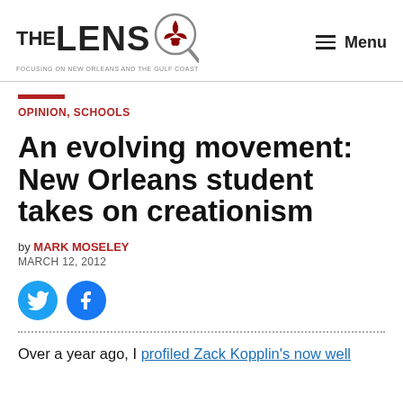THE LENS - Focusing on New Orleans and the Gulf Coast | Menu
OPINION, SCHOOLS
An evolving movement: New Orleans student takes on creationism
by MARK MOSELEY
MARCH 12, 2012
Over a year ago, I profiled Zack Kopplin's now well